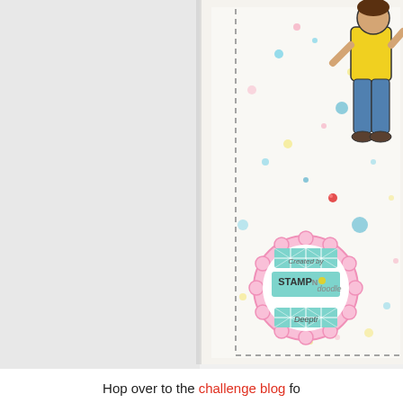[Figure (photo): A close-up photo of a handmade greeting card. The card features a white background with colorful paint splatters in pink, blue, and yellow. A dashed border frames the card interior. A child figure wearing a yellow shirt and blue jeans is stamped/drawn on the right side of the card. A decorative round badge/watermark stamp reads 'Created by STAMP N doodle Deepti' with a pink scalloped border and teal diamond pattern. A small red rhinestone accent is visible on the card. The left portion of the image shows a plain white/light grey background.]
Hop over to the challenge blog fo